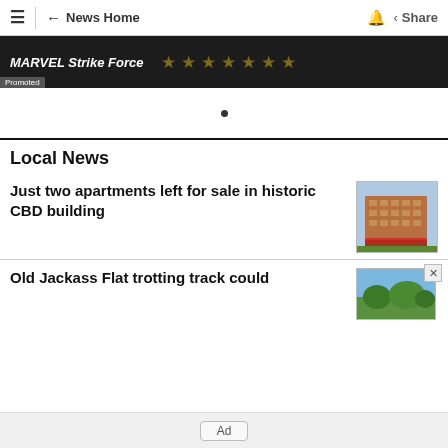☰ | ← News Home 🔔 Share
[Figure (screenshot): MARVEL Strike Force promoted banner with gold stars on dark background]
Promoted
Local News
Just two apartments left for sale in historic CBD building
[Figure (photo): Historic red brick CBD building, multi-storey with retail at ground level]
Old Jackass Flat trotting track could
[Figure (photo): Trees and green landscape photo thumbnail]
Ad